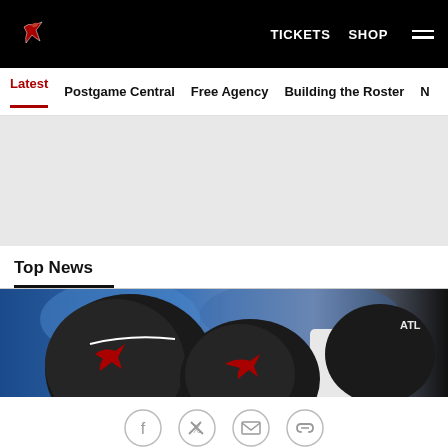Atlanta Falcons website header with logo, TICKETS, SHOP, and hamburger menu
Latest | Postgame Central | Free Agency | Building the Roster | N...
[Figure (other): Gray advertisement placeholder area]
Top News
[Figure (photo): Atlanta Falcons players in helmets during a game, showing black helmets with the Falcons logo]
[Figure (other): Social sharing icons: Facebook, Twitter, Email, Link]